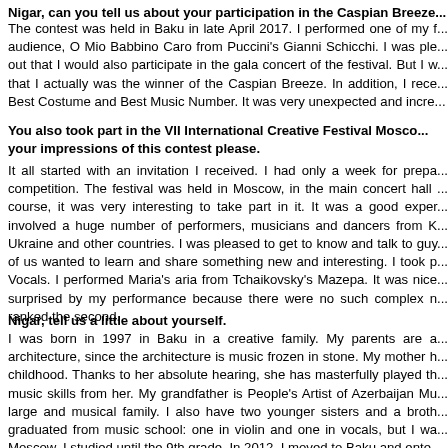Nigar, can you tell us about your participation in the Caspian Breeze...
The contest was held in Baku in late April 2017. I performed one of my f... audience, O Mio Babbino Caro from Puccini's Gianni Schicchi. I was ple... out that I would also participate in the gala concert of the festival. But I w... that I actually was the winner of the Caspian Breeze. In addition, I rece... Best Costume and Best Music Number. It was very unexpected and incre...
You also took part in the VII International Creative Festival Mosco... your impressions of this contest please.
It all started with an invitation I received. I had only a week for prepa... competition. The festival was held in Moscow, in the main concert hall ... course, it was very interesting to take part in it. It was a good exper... involved a huge number of performers, musicians and dancers from K... Ukraine and other countries. I was pleased to get to know and talk to guy... of us wanted to learn and share something new and interesting. I took p... Vocals. I performed Maria's aria from Tchaikovsky's Mazepa. It was nice... surprised by my performance because there were no such complex n... ranked the second.
Nigar, tell us a little about yourself.
I was born in 1997 in Baku in a creative family. My parents are a... architecture, since the architecture is music frozen in stone. My mother h... childhood. Thanks to her absolute hearing, she has masterfully played th... music skills from her. My grandfather is People's Artist of Azerbaijan Mu... large and musical family. I also have two younger sisters and a broth... graduated from music school: one in violin and one in vocals, but I wa... Moscow, I studied until the 9th grade. In 2012, I moved to Baku and ente...